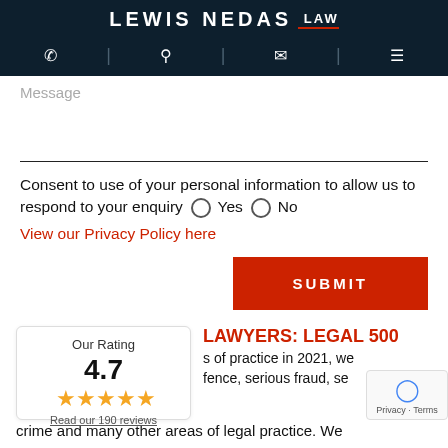LEWIS NEDAS LAW
Message
Consent to use of your personal information to allow us to respond to your enquiry  Yes  No
View our Privacy Policy here
SUBMIT
Our Rating
4.7 ★★★★★
Read our 190 reviews
LAWYERS: LEGAL 500
s of practice in 2021, we fence, serious fraud, se crime and many other areas of legal practice. We